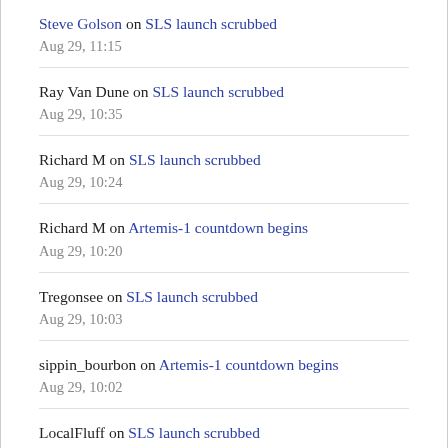Steve Golson on SLS launch scrubbed
Aug 29, 11:15
Ray Van Dune on SLS launch scrubbed
Aug 29, 10:35
Richard M on SLS launch scrubbed
Aug 29, 10:24
Richard M on Artemis-1 countdown begins
Aug 29, 10:20
Tregonsee on SLS launch scrubbed
Aug 29, 10:03
sippin_bourbon on Artemis-1 countdown begins
Aug 29, 10:02
LocalFluff on SLS launch scrubbed
Aug 29, 10:00
pawn on Artemis-1 countdown begins
Aug 29, 09:52